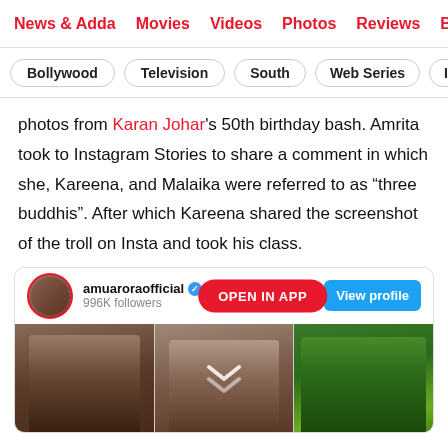News & Adda | Movies | Videos | Photos | Reviews | Box
Bollywood
Television
South
Web Series
Inte
photos from Karan Johar's 50th birthday bash. Amrita took to Instagram Stories to share a comment in which she, Kareena, and Malaika were referred to as “three buddhis”. After which Kareena shared the screenshot of the troll on Insta and took his class.
[Figure (screenshot): Instagram embed showing account amuaroraofficial with 996K followers, View profile button, Open in App badge, and a photo strip of three women at what appears to be Karan Johar's birthday bash.]